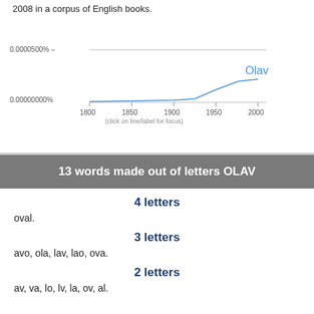2008 in a corpus of English books.
[Figure (continuous-plot): Google Ngram line chart showing frequency of 'Olav' from 1800 to 2000 in English books corpus. Y-axis shows 0.0000500% and 0.00000000%. X-axis shows years 1800, 1850, 1900, 1950, 2000. A blue label 'Olav' appears near the top right. Text says '(click on line/label for focus)'.]
13 words made out of letters OLAV
4 letters
oval.
3 letters
avo, ola, lav, lao, ova.
2 letters
av, va, lo, lv, la, ov, al.